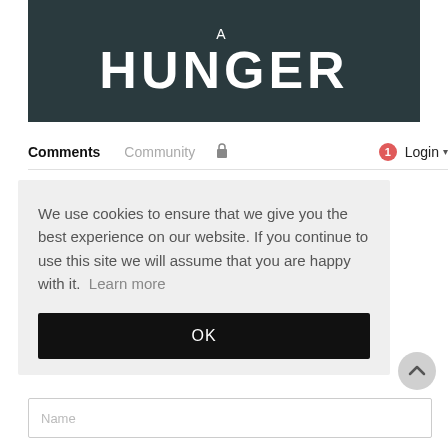[Figure (illustration): Dark moody background with large white text 'A HUNGER' — book or film title card]
Comments  Community  🔒  1  Login ▾
We use cookies to ensure that we give you the best experience on our website. If you continue to use this site we will assume that you are happy with it.  Learn more
OK